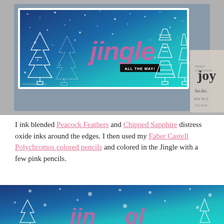[Figure (photo): A handmade Christmas card with a teal/blue ink-blended background featuring white outlined Christmas trees and the word 'jingle' in pink/purple lettering with 'ALL THE WAY!' in a black banner. Rubber stamps visible in the background.]
I ink blended Peacock Feathers and Chipped Sapphire distress oxide inks around the edges. I then used my Faber Castell Polychromos colored pencils and colored in the Jingle with a few pink pencils.
[Figure (photo): Close-up detail of the Christmas card showing teal/blue background with white outlined trees and the beginning of the word 'jingle' in pink/purple at bottom.]